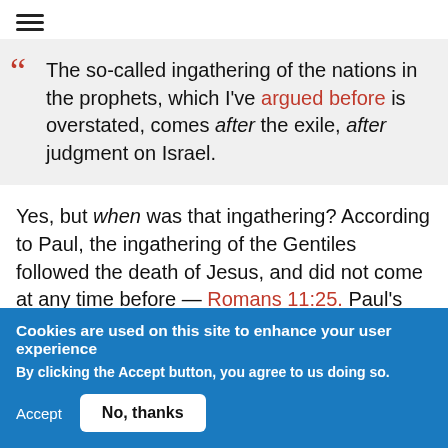≡
The so-called ingathering of the nations in the prophets, which I've argued before is overstated, comes after the exile, after judgment on Israel.
Yes, but when was that ingathering? According to Paul, the ingathering of the Gentiles followed the death of Jesus, and did not come at any time before — Romans 11:25. Paul's calling (Acts 13:47) reflects that reality — which he bases on one of the OT prophets who predicted the ingathering
Cookies are used on this site to enhance your user experience
By clicking the Accept button, you agree to us doing so.
Accept  No, thanks